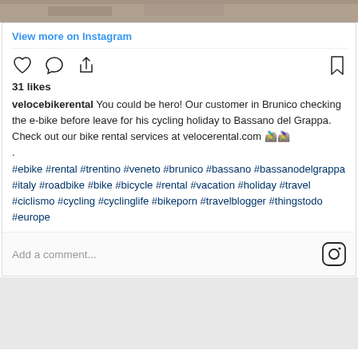[Figure (photo): Top portion of an Instagram photo showing a wooden deck/boardwalk surface]
View more on Instagram
[Figure (other): Instagram action icons: heart (like), comment bubble, share/upload arrow on left; bookmark on right]
31 likes
velocebikerental You could be hero! Our customer in Brunico checking the e-bike before leave for his cycling holiday to Bassano del Grappa. Check out our bike rental services at velocerental.com 🚵‍♂️🚵‍♀️ . #ebike #rental #trentino #veneto #brunico #bassano #bassanodelgrappa #italy #roadbike #bike #bicycle #rental #vacation #holiday #travel #ciclismo #cycling #cyclinglife #bikeporn #travelblogger #thingstodo #europe
Add a comment...